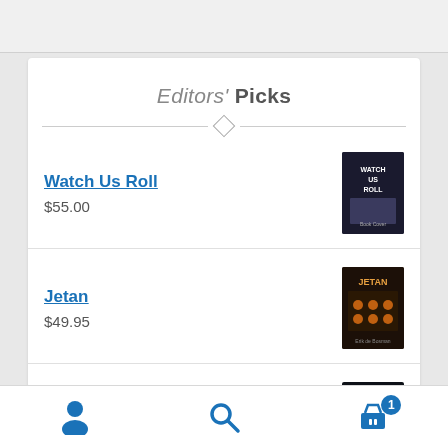Editors' Picks
Watch Us Roll — $55.00
Jetan — $49.95
So You've Landed in a Fantasy World — $29.95